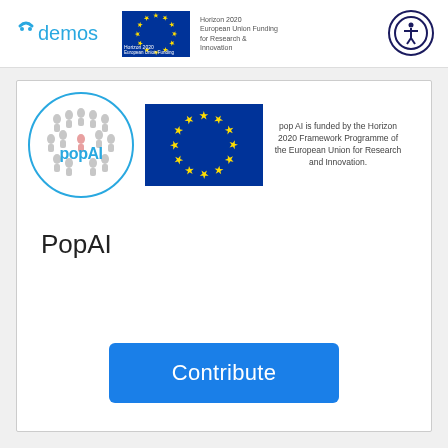[Figure (logo): Demos logo with stylized face icon and 'demos' text in blue, alongside EU Horizon 2020 flag and funding text]
[Figure (logo): Accessibility button icon - person with arms outstretched in a circle]
[Figure (logo): PopAI circular logo with people icons and 'popAI' text in blue, and EU flag blue rectangle with yellow stars]
pop AI is funded by the Horizon 2020 Framework Programme of the European Union for Research and Innovation.
PopAI
Contribute